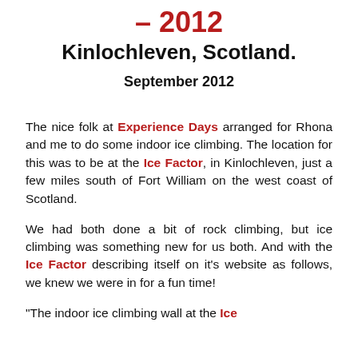– 2012
Kinlochleven, Scotland.
September 2012
The nice folk at Experience Days arranged for Rhona and me to do some indoor ice climbing. The location for this was to be at the Ice Factor, in Kinlochleven, just a few miles south of Fort William on the west coast of Scotland.
We had both done a bit of rock climbing, but ice climbing was something new for us both. And with the Ice Factor describing itself on it's website as follows, we knew we were in for a fun time!
"The indoor ice climbing wall at the Ice